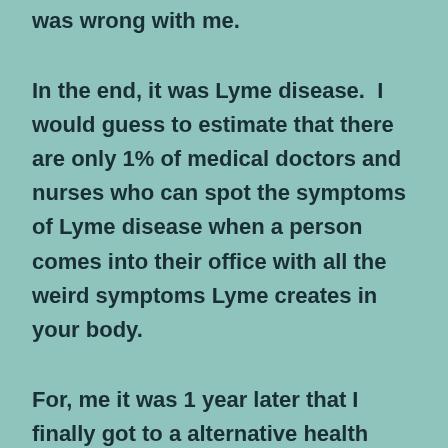was wrong with me.
In the end, it was Lyme disease.  I would guess to estimate that there are only 1% of medical doctors and nurses who can spot the symptoms of Lyme disease when a person comes into their office with all the weird symptoms Lyme creates in your body.
For, me it was 1 year later that I finally got to a alternative health doctor who was able to test me and find out it was Lyme disease.  I then went to a medical & naturalist doctor who did a blood test that confirmed the diagnosis.